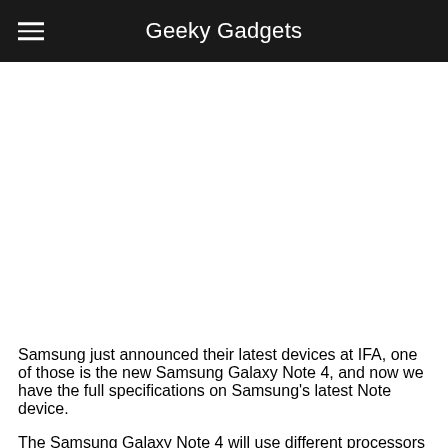Geeky Gadgets
[Figure (other): White blank image area below the navigation header]
Samsung just announced their latest devices at IFA, one of those is the new Samsung Galaxy Note 4, and now we have the full specifications on Samsung's latest Note device.
The Samsung Galaxy Note 4 will use different processors